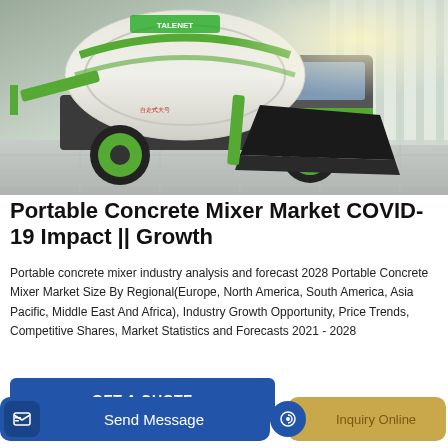[Figure (photo): Green and white self-loading portable concrete mixer truck (Talenet brand) with large drum, black shovel/bucket attachment in foreground, parked on tiled surface]
Portable Concrete Mixer Market COVID-19 Impact || Growth
Portable concrete mixer industry analysis and forecast 2028 Portable Concrete Mixer Market Size By Regional(Europe, North America, South America, Asia Pacific, Middle East And Africa), Industry Growth Opportunity, Price Trends, Competitive Shares, Market Statistics and Forecasts 2021 - 2028
GET A QUOTE
Send Message
Inquiry Online